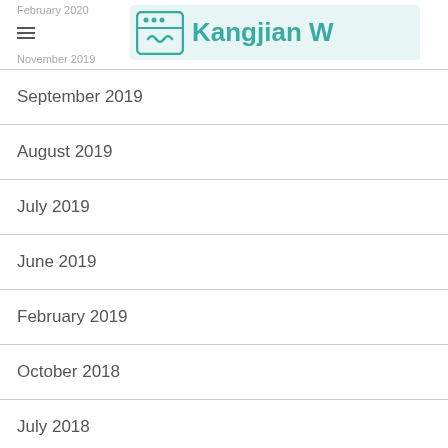February 2020 | November 2019 | Kangjian W
September 2019
August 2019
July 2019
June 2019
February 2019
October 2018
July 2018
June 2018
May 2018
December 2017